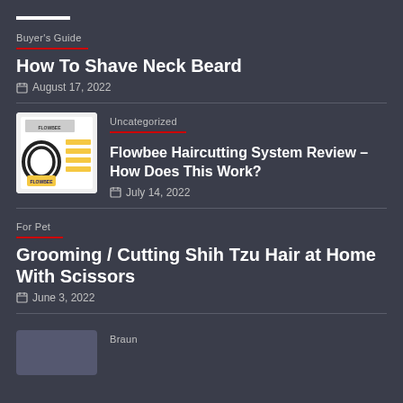Buyer's Guide
How To Shave Neck Beard
August 17, 2022
[Figure (photo): Flowbee haircutting system product photo showing device, hoses and accessories on white background]
Uncategorized
Flowbee Haircutting System Review – How Does This Work?
July 14, 2022
For Pet
Grooming / Cutting Shih Tzu Hair at Home With Scissors
June 3, 2022
Braun